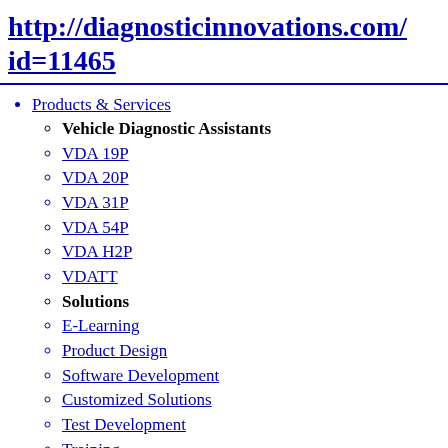http://diagnosticinnovations.com/id=11465
Products & Services
Vehicle Diagnostic Assistants
VDA 19P
VDA 20P
VDA 31P
VDA 54P
VDA H2P
VDATT
Solutions
E-Learning
Product Design
Software Development
Customized Solutions
Test Development
Training
Panasonic Toughbooks
CF20
CF31
CF54